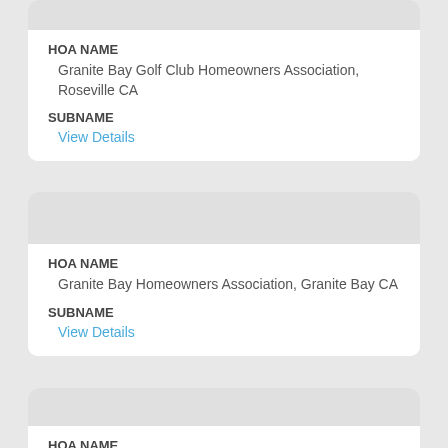HOA NAME
Granite Bay Golf Club Homeowners Association, Roseville CA
SUBNAME
View Details
HOA NAME
Granite Bay Homeowners Association, Granite Bay CA
SUBNAME
View Details
HOA NAME